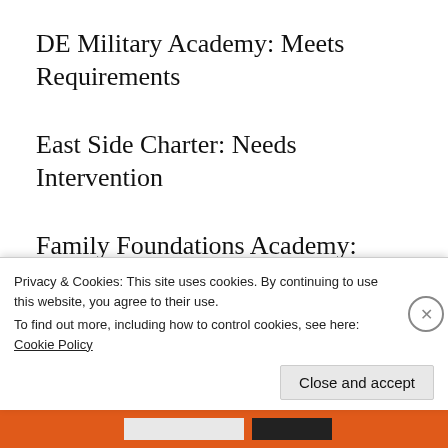DE Military Academy: Meets Requirements
East Side Charter: Needs Intervention
Family Foundations Academy: Meets Requirements
Gateway Lab School: Needs Intervention
Privacy & Cookies: This site uses cookies. By continuing to use this website, you agree to their use.
To find out more, including how to control cookies, see here: Cookie Policy
Close and accept